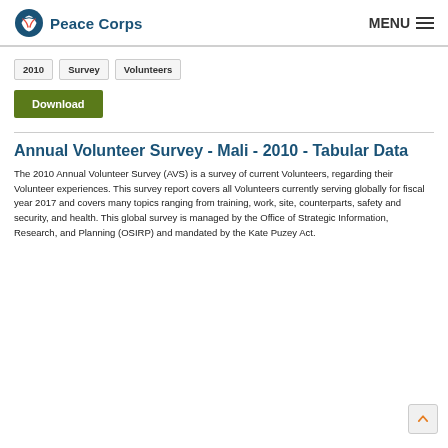Peace Corps MENU
2010
Survey
Volunteers
Download
Annual Volunteer Survey - Mali - 2010 - Tabular Data
The 2010 Annual Volunteer Survey (AVS) is a survey of current Volunteers, regarding their Volunteer experiences. This survey report covers all Volunteers currently serving globally for fiscal year 2017 and covers many topics ranging from training, work, site, counterparts, safety and security, and health. This global survey is managed by the Office of Strategic Information, Research, and Planning (OSIRP) and mandated by the Kate Puzey Act.